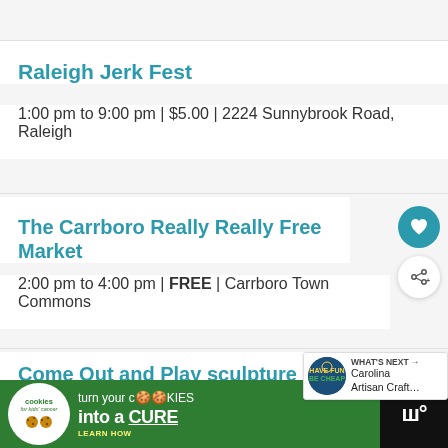Raleigh Jerk Fest
1:00 pm to 9:00 pm | $5.00 | 2224 Sunnybrook Road, Raleigh
The Carrboro Really Really Free Market
2:00 pm to 4:00 pm | FREE | Carrboro Town Commons
Come Out and Play sculpture sho…
2:00 pm to 7:00 pm | FREE | JimGin Farm
[Figure (infographic): Advertisement banner: Cookies for Kids Cancer — turn your cookies into a CURE, LEARN HOW. Green background with cookie icon and white circle logo.]